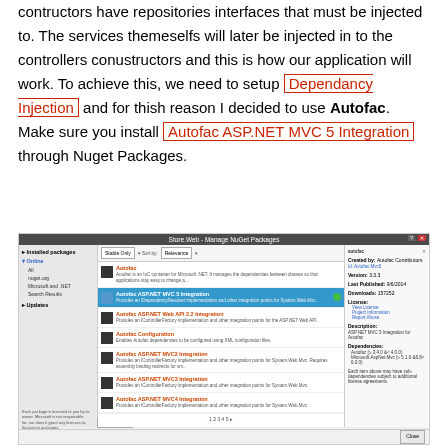contructors have repositories interfaces that must be injected to. The services themeselfs will later be injected in to the controllers conustructors and this is how our application will work. To achieve this, we need to setup Dependancy Injection and for thish reason I decided to use Autofac. Make sure you install Autofac ASP.NET MVC 5 Integration through Nuget Packages.
[Figure (screenshot): Screenshot of Visual Studio NuGet Package Manager showing Autofac ASP.NET MVC 5 Integration package selected, with package details on the right panel including version 3.3.3, published 9/6/2014, downloads 157252.]